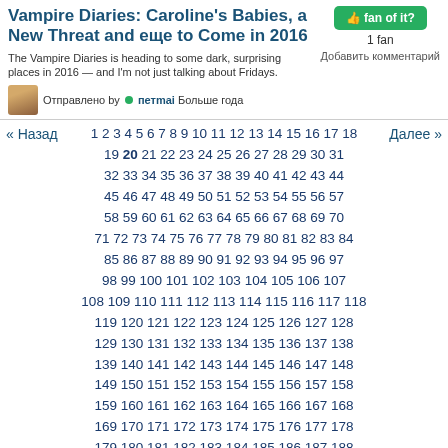Vampire Diaries: Caroline's Babies, a New Threat and еще to Come in 2016
The Vampire Diaries is heading to some dark, surprising places in 2016 — and I'm not just talking about Fridays.
Отправлено by петmai Больше года
fan of it? 1 fan Добавить комментарий
« Назад 1 2 3 4 5 6 7 8 9 10 11 12 13 14 15 16 17 18 19 20 21 22 23 24 25 26 27 28 29 30 31 32 33 34 35 36 37 38 39 40 41 42 43 44 45 46 47 48 49 50 51 52 53 54 55 56 57 58 59 60 61 62 63 64 65 66 67 68 69 70 71 72 73 74 75 76 77 78 79 80 81 82 83 84 85 86 87 88 89 90 91 92 93 94 95 96 97 98 99 100 101 102 103 104 105 106 107 108 109 110 111 112 113 114 115 116 117 118 119 120 121 122 123 124 125 126 127 128 129 130 131 132 133 134 135 136 137 138 139 140 141 142 143 144 145 146 147 148 149 150 151 152 153 154 155 156 157 158 159 160 161 162 163 164 165 166 167 168 169 170 171 172 173 174 175 176 177 178 179 180 181 182 183 184 185 186 187 188 Далее »